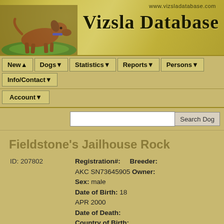[Figure (illustration): Vizsla Database website header banner with a Vizsla dog photo on the left, gold/yellow textured background, URL www.vizsladatabase.com at top right, and large bold text 'Vizsla Database']
www.vizsladatabase.com
Vizsla Database
New▲
Dogs▼
Statistics▼
Reports▼
Persons▼
Info/Contact▼
Account▼
Fieldstone's Jailhouse Rock
ID: 207802
Registration#:    Breeder:
AKC SN73645905  Owner:
Sex: male
Date of Birth: 18 APR 2000
Date of Death:
Country of Birth: United States
Country of Standing:
Breed: Shorthair

Calculate COI
Pedigree Analysis:
0 gen, 3 gen, 10